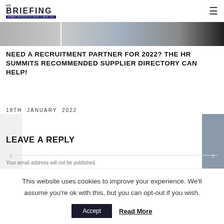HR BRIEFING HUMAN RESOURCES NEWS & ANALYSIS
[Figure (photo): Hero banner image strip showing people in office settings, partially cropped]
NEED A RECRUITMENT PARTNER FOR 2022? THE HR SUMMITS RECOMMENDED SUPPLIER DIRECTORY CAN HELP!
18TH JANUARY 2022
LEAVE A REPLY
Your email address will not be published.
This website uses cookies to improve your experience. We'll assume you're ok with this, but you can opt-out if you wish.
Accept   Read More